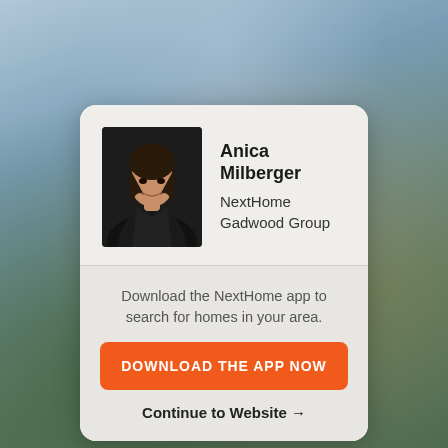[Figure (photo): Blurred outdoor background showing sky and building]
[Figure (photo): Professional headshot of Anica Milberger, a woman with dark hair wearing a black jacket, smiling]
Anica Milberger
NextHome
Gadwood Group
Download the NextHome app to search for homes in your area.
DOWNLOAD THE APP NOW
Continue to Website →